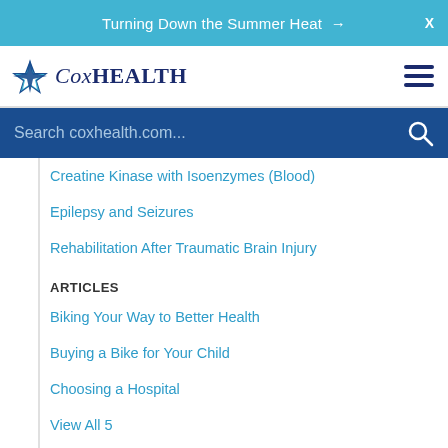Turning Down the Summer Heat →  X
[Figure (logo): CoxHealth logo with four-pointed star and stylized text]
Search coxhealth.com...
Creatine Kinase with Isoenzymes (Blood)
Epilepsy and Seizures
Rehabilitation After Traumatic Brain Injury
ARTICLES
Biking Your Way to Better Health
Buying a Bike for Your Child
Choosing a Hospital
View All 5
NEWS